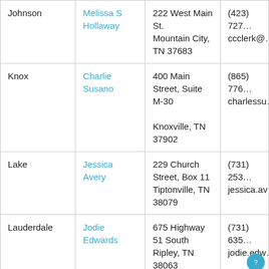| County | Clerk | Address | Contact |
| --- | --- | --- | --- |
| Johnson | Melissa S Hollaway | 222 West Main St. Mountain City, TN 37683 | (423) 727... ccclerk@... |
| Knox | Charlie Susano | 400 Main Street, Suite M-30 Knoxville, TN 37902 | (865) 776... charlessu... |
| Lake | Jessica Avery | 229 Church Street, Box 11 Tiptonville, TN 38079 | (731) 253... jessica.av... |
| Lauderdale | Jodie Edwards | 675 Highway 51 South Ripley, TN 38063 | (731) 635... jodie.edw... |